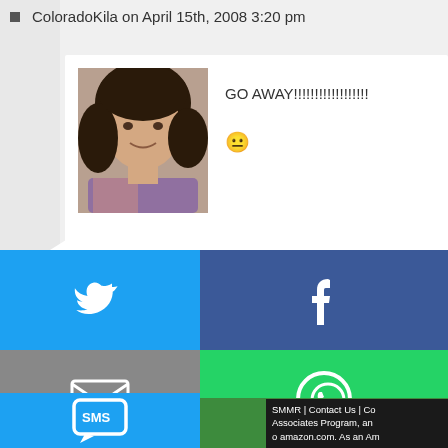ColoradoKila on April 15th, 2008 3:20 pm
GO AWAY!!!!!!!!!!!!!!!!!!
[Figure (photo): Profile photo of a woman with dark curly hair]
harleequinn on April 17th, 2008 10:17 am
[Figure (illustration): Generic grey silhouette avatar placeholder]
I couldnt agree more about Big Bang.

Best line of the night?:

"Engineers are the oompa loompas of sciences"
I still loved HIMYM, even though it wasnt the funniest episode.
[Figure (screenshot): Social media share buttons overlay: Twitter (blue), Facebook (dark blue), Email (grey), WhatsApp (green), SMS (light blue), Share/other (green)]
SMMR | Contact Us | Co... Associates Program, an... o amazon.com. As an Am...